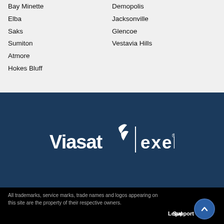Bay Minette
Elba
Saks
Sumiton
Atmore
Hokes Bluff
Demopolis
Jacksonville
Glencoe
Vestavia Hills
[Figure (logo): Viasat and Exede combined logo in white on dark blue background]
All trademarks, service marks, trade names and logos appearing on this site are the property of their respective owners. Legal Support